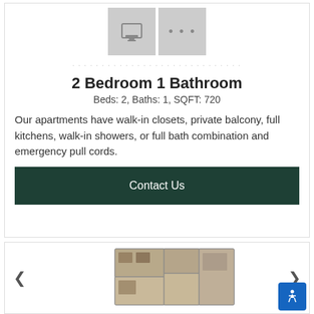[Figure (screenshot): Two thumbnail images of apartment unit - a print icon thumbnail and a three-dot menu thumbnail]
2 Bedroom 1 Bathroom
Beds: 2, Baths: 1, SQFT: 720
Our apartments have walk-in closets, private balcony, full kitchens, walk-in showers, or full bath combination and emergency pull cords.
Contact Us
[Figure (illustration): Apartment floor plan layout showing 2 bedroom 1 bathroom unit with navigation arrows on left and right]